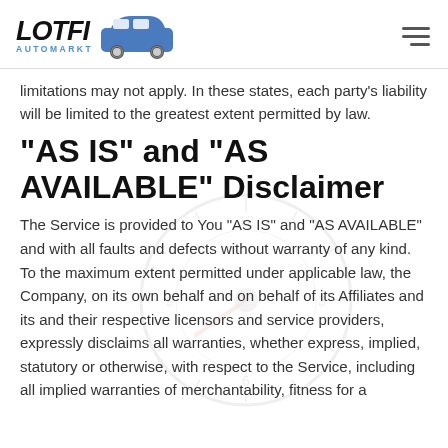LOTFI AUTOMARKT
limitations may not apply. In these states, each party's liability will be limited to the greatest extent permitted by law.
“AS IS” and “AS AVAILABLE” Disclaimer
The Service is provided to You “AS IS” and “AS AVAILABLE” and with all faults and defects without warranty of any kind. To the maximum extent permitted under applicable law, the Company, on its own behalf and on behalf of its Affiliates and its and their respective licensors and service providers, expressly disclaims all warranties, whether express, implied, statutory or otherwise, with respect to the Service, including all implied warranties of merchantability, fitness for a